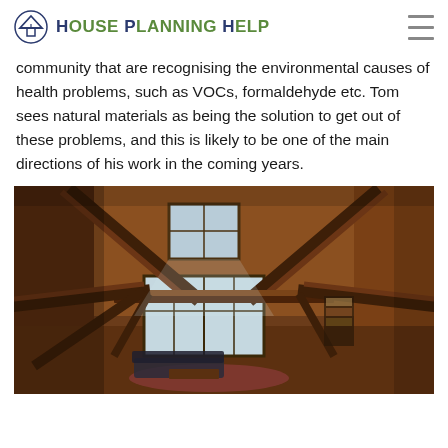House Planning Help
community that are recognising the environmental causes of health problems, such as VOCs, formaldehyde etc. Tom sees natural materials as being the solution to get out of these problems, and this is likely to be one of the main directions of his work in the coming years.
[Figure (photo): Interior view of a timber frame building looking down from above, showing exposed wooden beams forming triangular roof structure, with large windows, a living area with sofa and rug below.]